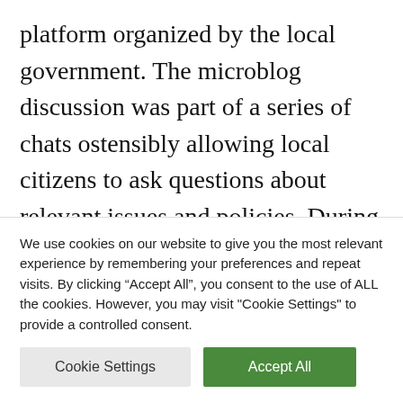platform organized by the local government. The microblog discussion was part of a series of chats ostensibly allowing local citizens to ask questions about relevant issues and policies. During the chat session with Lin Weiping, web users asked a series of pointed questions, but Lin seemed to systematically ignore these or offer completely unrelated answers. However,
We use cookies on our website to give you the most relevant experience by remembering your preferences and repeat visits. By clicking "Accept All", you consent to the use of ALL the cookies. However, you may visit "Cookie Settings" to provide a controlled consent.
Cookie Settings | Accept All